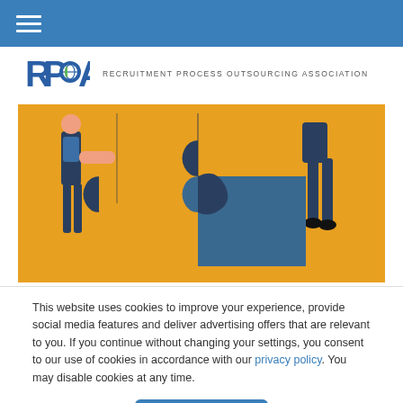Navigation bar with hamburger menu
[Figure (logo): RPOA logo - letters RP globe O A with text RECRUITMENT PROCESS OUTSOURCING ASSOCIATION]
[Figure (illustration): Illustration of two people connecting large puzzle pieces on a yellow/orange background. Dark navy/teal puzzle pieces being assembled.]
This website uses cookies to improve your experience, provide social media features and deliver advertising offers that are relevant to you. If you continue without changing your settings, you consent to our use of cookies in accordance with our privacy policy. You may disable cookies at any time.
Accept